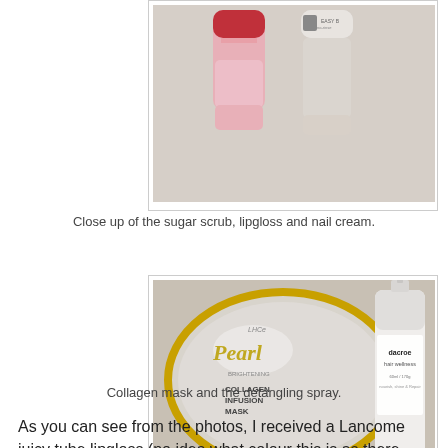[Figure (photo): Close up photo of beauty products: a sugar scrub tube, lipgloss, and nail cream tubes against a light background]
Close up of the sugar scrub, lipgloss and nail cream.
[Figure (photo): Photo of a collagen infusion mask in silver and gold packaging alongside a white detangling spray bottle labeled 'dacroe hair wellness']
Collagen mask and the detangling spray.
As you can see from the photos, I received a Lancome juicy tube lipgloss (no idea what colour this is as there isn't a